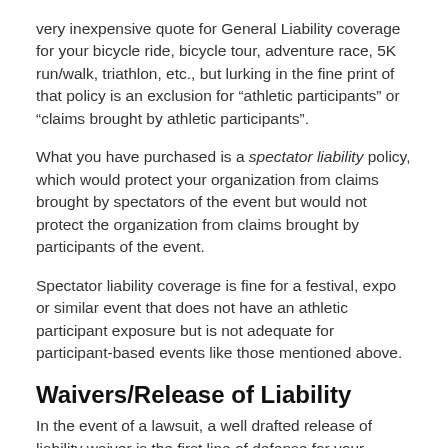very inexpensive quote for General Liability coverage for your bicycle ride, bicycle tour, adventure race, 5K run/walk, triathlon, etc., but lurking in the fine print of that policy is an exclusion for “athletic participants” or “claims brought by athletic participants”.
What you have purchased is a spectator liability policy, which would protect your organization from claims brought by spectators of the event but would not protect the organization from claims brought by participants of the event.
Spectator liability coverage is fine for a festival, expo or similar event that does not have an athletic participant exposure but is not adequate for participant-based events like those mentioned above.
Waivers/Release of Liability
In the event of a lawsuit, a well drafted release of liability waiver is the first line of defense for your organization. It is a